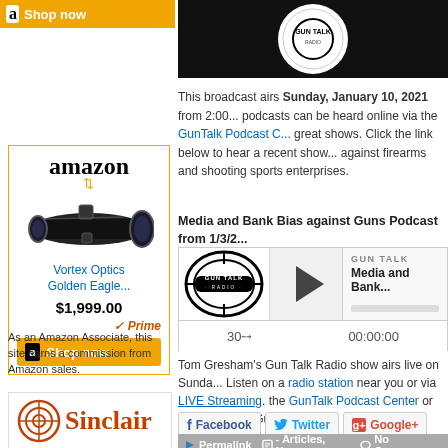[Figure (screenshot): Amazon ad top strip with logo and Shop now button]
[Figure (screenshot): Amazon ad block for Vortex Optics Golden Eagle scope, $1,999.00, with Prime badge and Shop now button]
As an Amazon Associate, this site earns a commission from Amazon sales.
[Figure (logo): Sinclair logo at bottom of sidebar]
[Figure (photo): Dark background image with partial white circular logo at top of main content area]
This broadcast airs Sunday, January 10, 2021 from 2:00... podcasts can be heard online via the GunTalk Podcast C... great shows. Click the link below to hear a recent show... against firearms and shooting sports enterprises.
Media and Bank Bias against Guns Podcast from 1/3/2...
[Figure (screenshot): Gun Talk Radio podcast player embed with play button showing time 00:00:00 and 30-second rewind control]
Tom Gresham's Gun Talk Radio show airs live on Sunda... Listen on a radio station near you or via LIVE Streaming. the GunTalk Podcast Center or Apple iTunes. Gun Talk is...
[Figure (screenshot): Social share buttons: Facebook, Twitter, Google+]
Permalink  - Articles, News  No Commen...